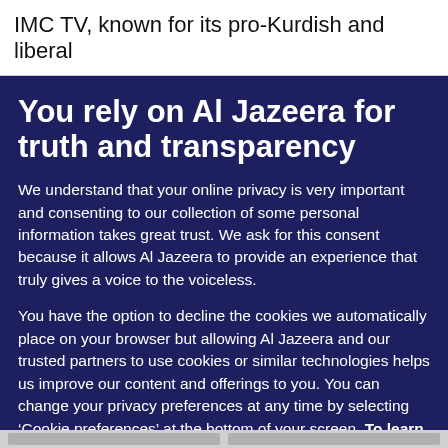IMC TV, known for its pro-Kurdish and liberal
You rely on Al Jazeera for truth and transparency
We understand that your online privacy is very important and consenting to our collection of some personal information takes great trust. We ask for this consent because it allows Al Jazeera to provide an experience that truly gives a voice to the voiceless.
You have the option to decline the cookies we automatically place on your browser but allowing Al Jazeera and our trusted partners to use cookies or similar technologies helps us improve our content and offerings to you. You can change your privacy preferences at any time by selecting ‘Cookie preferences’ at the bottom of your screen. To learn more, please view our Cookie Policy.